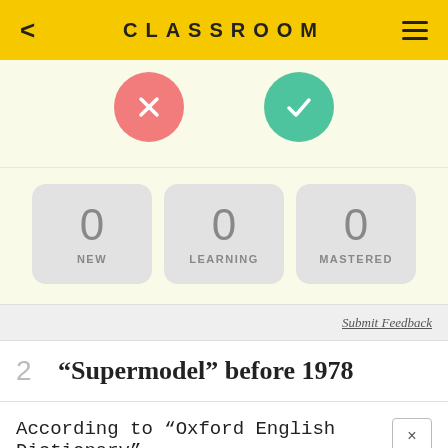CLASSROOM
[Figure (screenshot): Two circular buttons: a red X button and a green checkmark button on a pale yellow background]
[Figure (infographic): Three stat boxes showing 0 NEW, 0 LEARNING, 0 MASTERED]
Submit Feedback
2  “Supermodel” before 1978
According to “Oxford English Dictionary”